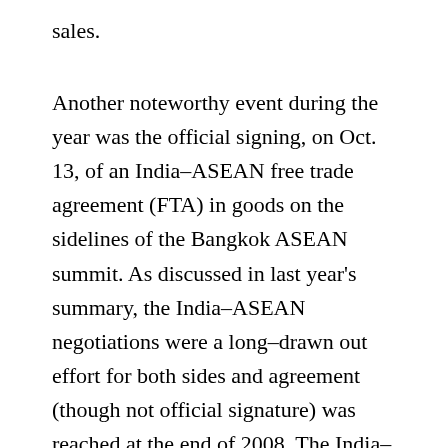sales.
Another noteworthy event during the year was the official signing, on Oct. 13, of an India–ASEAN free trade agreement (FTA) in goods on the sidelines of the Bangkok ASEAN summit. As discussed in last year's summary, the India–ASEAN negotiations were a long–drawn out effort for both sides and agreement (though not official signature) was reached at the end of 2008. The India–ASEAN FTA builds on the Framework Agreement on Comprehensive Economic Cooperation between the Association of Southeast Asian Nations and the Republic of India, signed in Bali, Indonesia in October